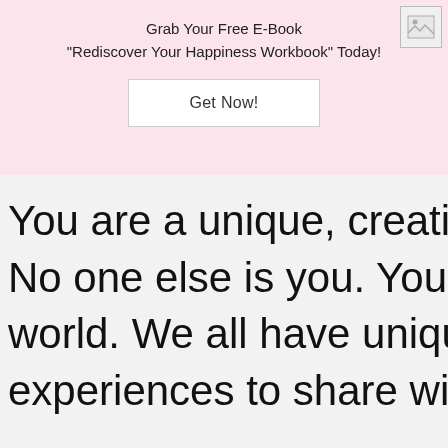Grab Your Free E-Book
"Rediscover Your Happiness Workbook" Today!
[Figure (other): Small broken/placeholder image icon in top right corner]
Get Now!
You are a unique, creative, an
No one else is you. You are th
world. We all have unique gift
experiences to share with the